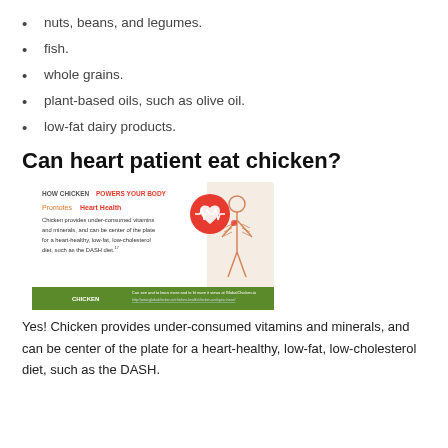nuts, beans, and legumes.
fish.
whole grains.
plant-based oils, such as olive oil.
low-fat dairy products.
Can heart patient eat chicken?
[Figure (infographic): Infographic titled 'HOW CHICKEN POWERS YOUR BODY' with a red heart-rate icon and human body outline. Text reads: 'Promotes Heart Health. Chicken provides under-consumed vitamins and minerals, and can be center of the plate for a heart-healthy, low-fat, low-cholesterol diet, such as the DASH diet.' Green banner at bottom with chicken logo and GlobalChicken.io URL.]
Yes! Chicken provides under-consumed vitamins and minerals, and can be center of the plate for a heart-healthy, low-fat, low-cholesterol diet, such as the DASH.